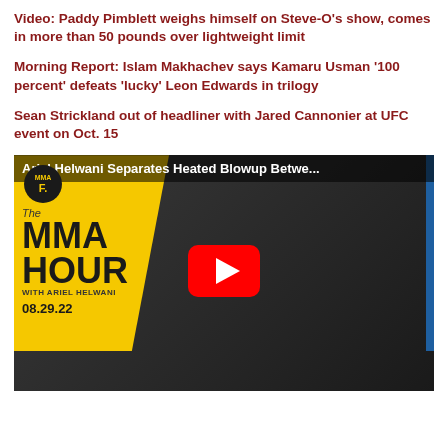Video: Paddy Pimblett weighs himself on Steve-O's show, comes in more than 50 pounds over lightweight limit
Morning Report: Islam Makhachev says Kamaru Usman '100 percent' defeats 'lucky' Leon Edwards in trilogy
Sean Strickland out of headliner with Jared Cannonier at UFC event on Oct. 15
[Figure (screenshot): YouTube video thumbnail for 'Ariel Helwani Separates Heated Blowup Between...' on The MMA Hour with Ariel Helwani, dated 08.29.22. Yellow left panel with MMA Hour branding, dark video background on right showing people in what appears to be a studio, red YouTube play button in center. Bottom bar reads 'ARIEL HELWANI SEPARATES HEATED BETWEEN DANNY SABATELLO, RAUFF']